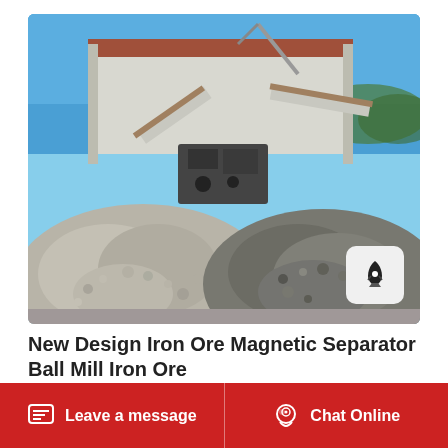[Figure (photo): Outdoor industrial mining/crushing facility with two large piles of crushed gray stone/gravel in the foreground, conveyor belts and heavy machinery in the middle, and a clear blue sky in the background.]
New Design Iron Ore Magnetic Separator Ball Mill Iron Ore
new design iron ore magnetic separator ball mill
Leave a message   Chat Online